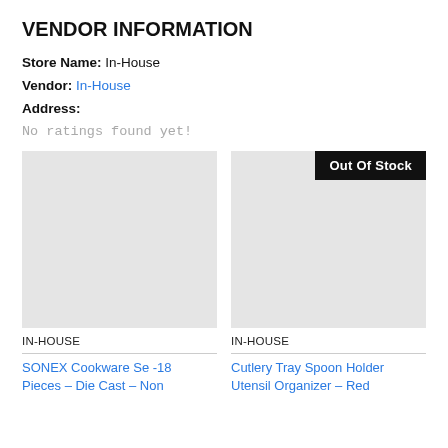VENDOR INFORMATION
Store Name: In-House
Vendor: In-House
Address:
No ratings found yet!
[Figure (photo): Product image placeholder (gray box) for SONEX Cookware]
[Figure (photo): Product image placeholder (gray box) with Out Of Stock badge for Cutlery Tray Spoon Holder]
IN-HOUSE
IN-HOUSE
SONEX Cookware Se -18 Pieces – Die Cast – Non
Cutlery Tray Spoon Holder Utensil Organizer – Red